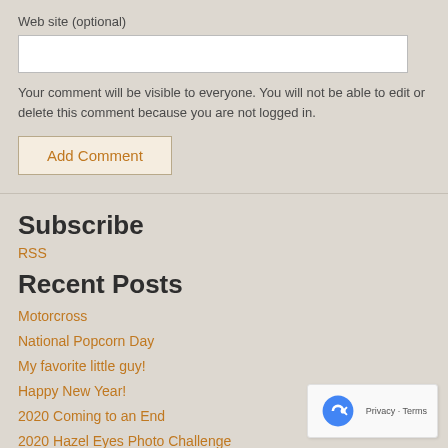Web site (optional)
Your comment will be visible to everyone. You will not be able to edit or delete this comment because you are not logged in.
Add Comment
Subscribe
RSS
Recent Posts
Motorcross
National Popcorn Day
My favorite little guy!
Happy New Year!
2020 Coming to an End
2020 Hazel Eyes Photo Challenge
Michael
Savannah
Matt